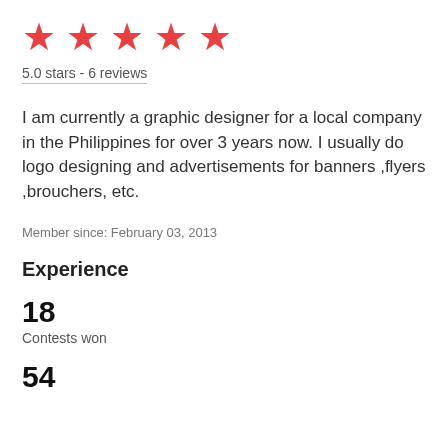[Figure (illustration): Five red five-pointed stars in a row representing a 5-star rating]
5.0 stars - 6 reviews
I am currently a graphic designer for a local company in the Philippines for over 3 years now. I usually do logo designing and advertisements for banners ,flyers ,brouchers, etc.
Member since: February 03, 2013
Experience
18
Contests won
54